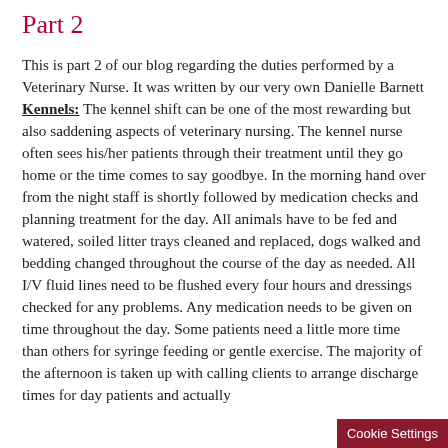Part 2
This is part 2 of our blog regarding the duties performed by a Veterinary Nurse.  It was written by our very own Danielle Barnett Kennels: The kennel shift can be one of the most rewarding but also saddening aspects of veterinary nursing. The kennel nurse often sees his/her patients through their treatment until they go home or the time comes to say goodbye. In the morning hand over from the night staff is shortly followed by medication checks and planning treatment for the day. All animals have to be fed and watered, soiled litter trays cleaned and replaced, dogs walked and bedding changed throughout the course of the day as needed. All I/V fluid lines need to be flushed every four hours and dressings checked for any problems. Any medication needs to be given on time throughout the day. Some patients need a little more time than others for syringe feeding or gentle exercise. The majority of the afternoon is taken up with calling clients to arrange discharge times for day patients and actually...